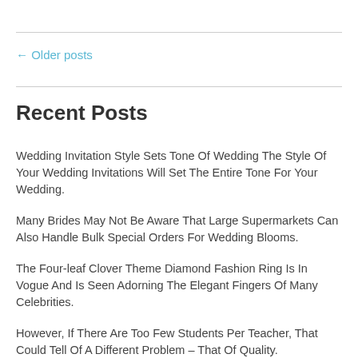← Older posts
Recent Posts
Wedding Invitation Style Sets Tone Of Wedding The Style Of Your Wedding Invitations Will Set The Entire Tone For Your Wedding.
Many Brides May Not Be Aware That Large Supermarkets Can Also Handle Bulk Special Orders For Wedding Blooms.
The Four-leaf Clover Theme Diamond Fashion Ring Is In Vogue And Is Seen Adorning The Elegant Fingers Of Many Celebrities.
However, If There Are Too Few Students Per Teacher, That Could Tell Of A Different Problem – That Of Quality.
Music For General Dancing After The Spotlight Dances, The Bandleader Or Dj Will Open Up The Floor To General Dancing.